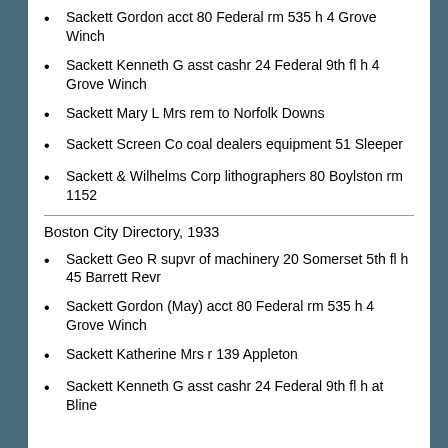Sackett Gordon acct 80 Federal rm 535 h 4 Grove Winch
Sackett Kenneth G asst cashr 24 Federal 9th fl h 4 Grove Winch
Sackett Mary L Mrs rem to Norfolk Downs
Sackett Screen Co coal dealers equipment 51 Sleeper
Sackett & Wilhelms Corp lithographers 80 Boylston rm 1152
Boston City Directory, 1933
Sackett Geo R supvr of machinery 20 Somerset 5th fl h 45 Barrett Revr
Sackett Gordon (May) acct 80 Federal rm 535 h 4 Grove Winch
Sackett Katherine Mrs r 139 Appleton
Sackett Kenneth G asst cashr 24 Federal 9th fl h at Bline